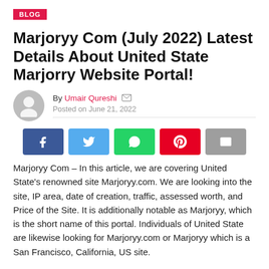BLOG
Marjoryy Com (July 2022) Latest Details About United State Marjorry Website Portal!
By Umair Qureshi  Posted on June 21, 2022
[Figure (other): Social sharing buttons: Facebook, Twitter, WhatsApp, Pinterest, Email]
Marjoryy Com – In this article, we are covering United State's renowned site Marjoryy.com. We are looking into the site, IP area, date of creation, traffic, assessed worth, and Price of the Site. It is additionally notable as Marjoryy, which is the short name of this portal. Individuals of United State are likewise looking for Marjoryy.com or Marjoryy which is a San Francisco, California, US site.